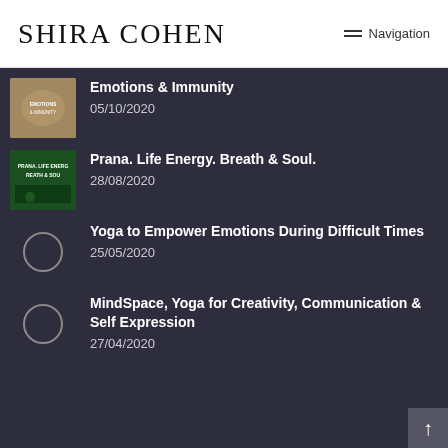SHIRA COHEN  Navigation
Emotions & Immunity
05/10/2020
Prana. Life Energy. Breath & Soul.
28/08/2020
Yoga to Empower Emotions During Difficult Times
25/05/2020
MindSpace, Yoga for Creativity, Communication & Self Expression
27/04/2020